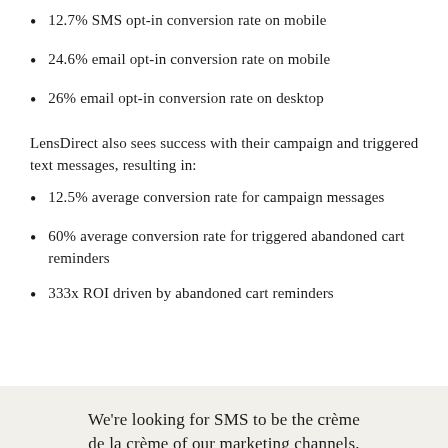12.7% SMS opt-in conversion rate on mobile
24.6% email opt-in conversion rate on mobile
26% email opt-in conversion rate on desktop
LensDirect also sees success with their campaign and triggered text messages, resulting in:
12.5% average conversion rate for campaign messages
60% average conversion rate for triggered abandoned cart reminders
333x ROI driven by abandoned cart reminders
We're looking for SMS to be the crème de la crème of our marketing channels.